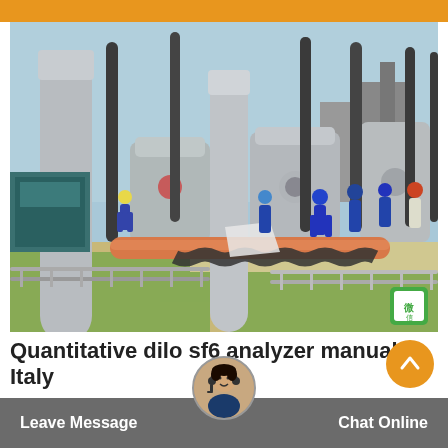[Figure (photo): Electrical substation with workers in blue coveralls and hard hats servicing large high-voltage equipment including transformers, insulators, and bushings. Orange/red pipe casing visible on ground. Open outdoor industrial facility.]
Quantitative dilo sf6 analyzer manual Italy
Leave Message   Chat Online